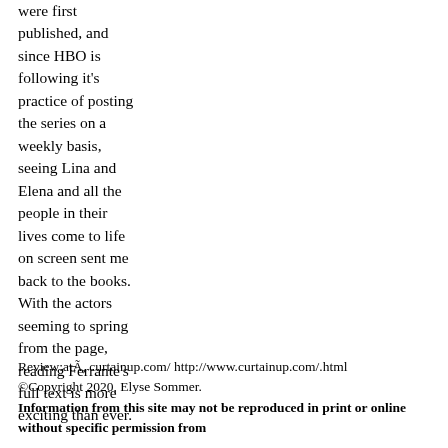were first published, and since HBO is following it's practice of posting the series on a weekly basis, seeing Lina and Elena and all the people in their lives come to life on screen sent me back to the books. With the actors seeming to spring from the page, reading Ferrante's full text is more exciting than ever.
Review:atÃ, curtainup.com/ http://www.curtainup.com/.html
©Copyright 2020, Elyse Sommer.
Information from this site may not be reproduced in print or online without specific permission from